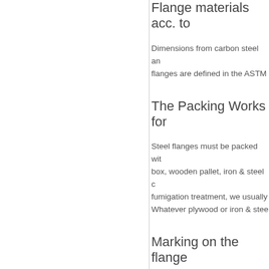Flange materials acc. to
Dimensions from carbon steel and flanges are defined in the ASTM
The Packing Works for
Steel flanges must be packed with box, wooden pallet, iron & steel c fumigation treatment, we usually Whatever plywood or iron & stee
Marking on the flange
Shipping mark stick to outside of